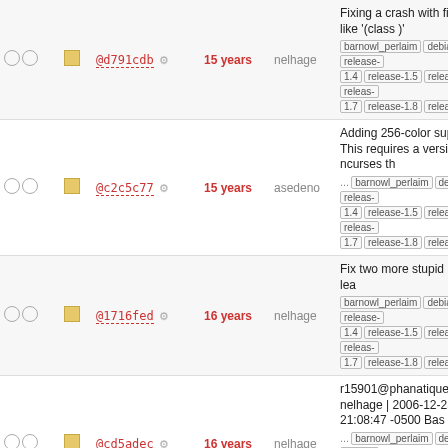| checks | square | hash | age | author | message |
| --- | --- | --- | --- | --- | --- |
| ○ ○ | □ | @d791cdb ⚙ | 15 years | nelhage | Fixing a crash with filters like '(class )'
barnowl_perlaim debian release-1.4 release-1.5 release-1.6 release-1.7 release-1.8 release-1.9 |
| ○ ○ | □ | @c2c5c77 ⚙ | 15 years | asedeno | Adding 256-color support. This requires a version of ncurses th...
barnowl_perlaim debian release-1.4 release-1.5 release-1.6 release-1.7 release-1.8 release-1.9 |
| ○ ○ | □ | @1716fed ⚙ | 16 years | nelhage | Fix two more stupid memory lea
barnowl_perlaim debian release-1.4 release-1.5 release-1.6 release-1.7 release-1.8 release-1.9 |
| ○ ○ | □ | @cd5adec ⚙ | 16 years | nelhage | r15901@phanatique: nelhage | 2006-12-25 21:08:47 -0500 Bas...
barnowl_perlaim debian release-1.4 release-1.5 release-1.6 release-1.7 release-1.8 release-1.9 |
| ○ ○ | □ | @0f1f388 ⚙ | 16 years | nelhage | Merging in filter regression tests from my local branch.
barnowl_perlaim debian release-1.4 release-1.5 release-1.6 release-1.7 release-1.8 release-1.9 |
| ○ ○ | □ | @8fa9562 ⚙ | 16 years | asedeno | Added background color suppo owl. If we run out of color pairs
barnowl_perlaim debian release-1.4 release-1.5 release-1.6 release-1.7 release-1.8 release-1.9 |
| ○ ○ | □ | @446aa2b ⚙ | 16 years | nelhage | make owl_filter_print include the filter name and color, like the ol
barnowl_perlaim debian release-1.4 release-1.5 release-1.6 release-1.7 release-1.8 release-1.9 |